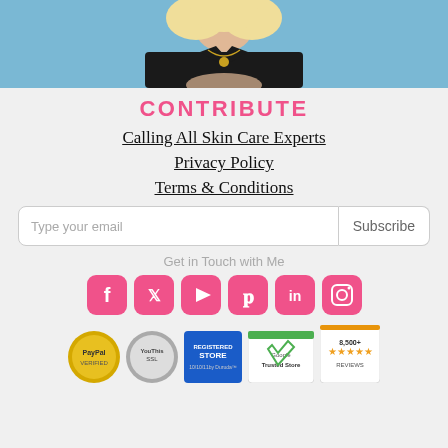[Figure (photo): Photo of a woman in a black t-shirt with a gold necklace against a light blue background, cropped to show torso and hands]
CONTRIBUTE
Calling All Skin Care Experts
Privacy Policy
Terms & Conditions
Type your email | Subscribe
Get in Touch with Me
[Figure (infographic): Row of six pink rounded-square social media icons: Facebook, Twitter, YouTube, Pinterest, LinkedIn, Instagram]
[Figure (infographic): Row of five trust badge logos: PayPal, YouThis.SSL, Registered Store, Google Trusted Store, 8,500+ reviews badge]